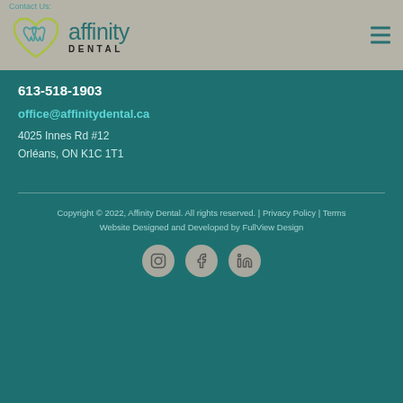Contact Us:
[Figure (logo): Affinity Dental logo with tooth/heart icon and text 'affinity DENTAL']
613-518-1903
office@affinitydental.ca
4025 Innes Rd #12
Orléans, ON K1C 1T1
Copyright © 2022, Affinity Dental. All rights reserved. | Privacy Policy | Terms
Website Designed and Developed by FullView Design
[Figure (illustration): Social media icons: Instagram, Facebook, LinkedIn in circular grey buttons]